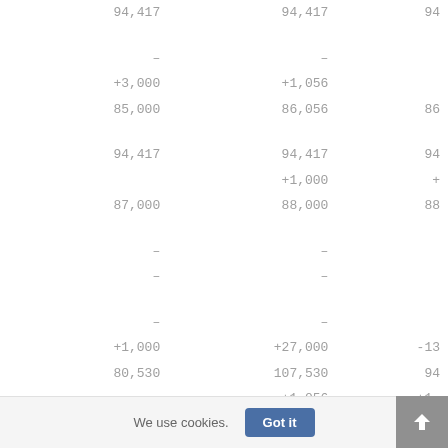| Col1 | Col2 | Col3 |
| --- | --- | --- |
| 94,417 | 94,417 | 94 |
| – | – |  |
| +3,000 | +1,056 |  |
| 85,000 | 86,056 | 86 |
| 94,417 | 94,417 | 94 |
|  | +1,000 | + |
| 87,000 | 88,000 | 88 |
| – | – |  |
| – | – |  |
| – | – |  |
| +1,000 | +27,000 | -13 |
| 80,530 | 107,530 | 94 |
|  | +1,056 | +1, |
We use cookies.